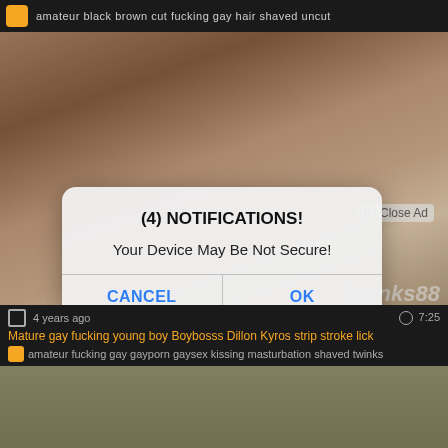amateur black brown cut fucking gay hair shaved uncut
[Figure (screenshot): Screenshot of an adult video website with a notification dialog overlay]
(4) NOTIFICATIONS!
Your Device May Be Not Secure!
CANCEL
OK
Twinks88
4 years ago   7:25
Mature gay fucking young boy Boybosss Dillon Kyros strip stroke lick
amateur fucking gay gayporn gaysex kissing masturbation shaved twinks